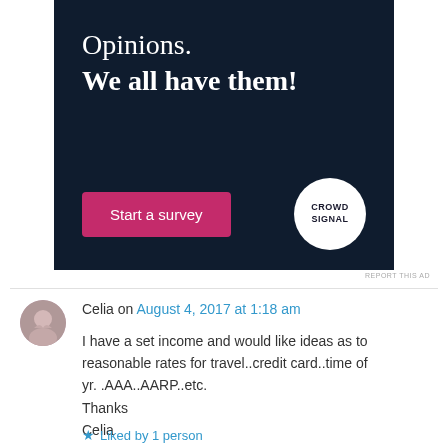[Figure (infographic): Advertisement banner with dark navy background. Text reads 'Opinions. We all have them!' with a pink 'Start a survey' button and CrowdSignal logo circle.]
REPORT THIS AD
Celia on August 4, 2017 at 1:18 am
I have a set income and would like ideas as to reasonable rates for travel..credit card..time of yr. .AAA..AARP..etc.
Thanks
Celia
Liked by 1 person